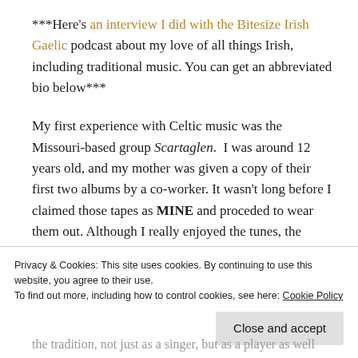***Here's an interview I did with the Bitesize Irish Gaelic podcast about my love of all things Irish, including traditional music. You can get an abbreviated bio below***
My first experience with Celtic music was the Missouri-based group Scartaglen.  I was around 12 years old, and my mother was given a copy of their first two albums by a co-worker. It wasn't long before I claimed those tapes as MINE and proceded to wear them out. Although I really enjoyed the tunes, the piping in particular, it was the...
Privacy & Cookies: This site uses cookies. By continuing to use this website, you agree to their use.
To find out more, including how to control cookies, see here: Cookie Policy
Close and accept
the tradition, not just as a singer, but as a player as well...